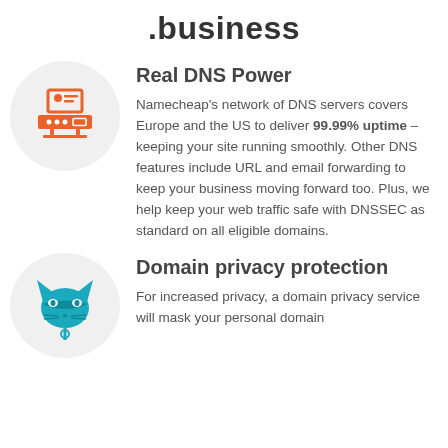.business
[Figure (illustration): Orange icon of a server/computer with a business card, on a light gray circle background]
Real DNS Power
Namecheap's network of DNS servers covers Europe and the US to deliver 99.99% uptime – keeping your site running smoothly. Other DNS features include URL and email forwarding to keep your business moving forward too. Plus, we help keep your web traffic safe with DNSSEC as standard on all eligible domains.
[Figure (illustration): Teal/cyan cat face icon with a mask, on a light gray circle background]
Domain privacy protection
For increased privacy, a domain privacy service will mask your personal domain